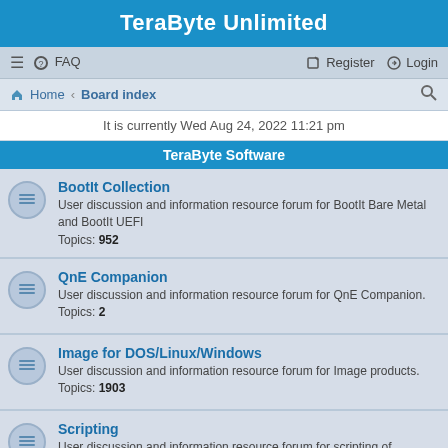TeraByte Unlimited
≡  FAQ    Register  Login
Home · Board index
It is currently Wed Aug 24, 2022 11:21 pm
TeraByte Software
BootIt Collection
User discussion and information resource forum for BootIt Bare Metal and BootIt UEFI
Topics: 952
QnE Companion
User discussion and information resource forum for QnE Companion.
Topics: 2
Image for DOS/Linux/Windows
User discussion and information resource forum for Image products.
Topics: 1903
Scripting
User discussion and information resource forum for scripting of TeraByte products using script lanugages such as TBScript, VBScript, Batch Files, and more.
Topics: 62
OSD Tool Suite
User discussion and information resource forum for the TeraByte OS Deployment Tool Suite.